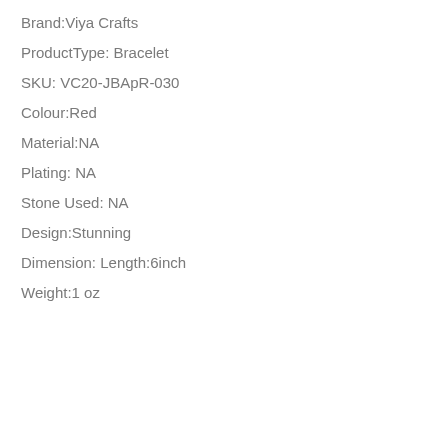Brand:Viya Crafts
ProductType: Bracelet
SKU: VC20-JBApR-030
Colour:Red
Material:NA
Plating: NA
Stone Used: NA
Design:Stunning
Dimension: Length:6inch
Weight:1 oz